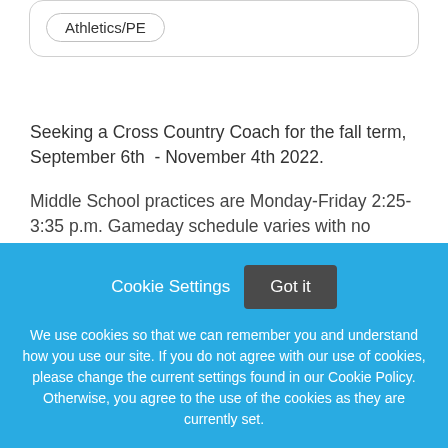Athletics/PE
Seeking a Cross Country Coach for the fall term, September 6th  - November 4th 2022.
Middle School practices are Monday-Friday 2:25-3:35 p.m. Gameday schedule varies with no weekend contest. Candidates should have coaching and/or competitive playing experience and a passion for the game. Stipend is competitive.
Cookie Settings
Got it
We use cookies so that we can remember you and understand how you use our site. If you do not agree with our use of cookies, please change the current settings found in our Cookie Policy. Otherwise, you agree to the use of the cookies as they are currently set.